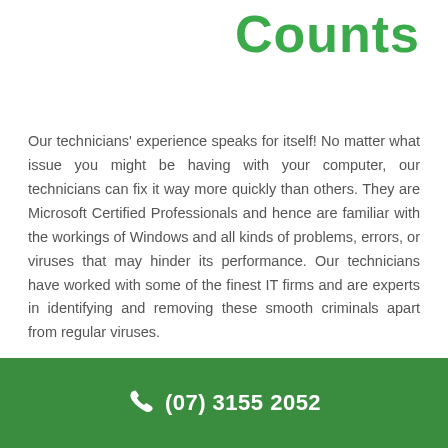Counts
Our technicians' experience speaks for itself! No matter what issue you might be having with your computer, our technicians can fix it way more quickly than others. They are Microsoft Certified Professionals and hence are familiar with the workings of Windows and all kinds of problems, errors, or viruses that may hinder its performance. Our technicians have worked with some of the finest IT firms and are experts in identifying and removing these smooth criminals apart from regular viruses.
(07) 3155 2052